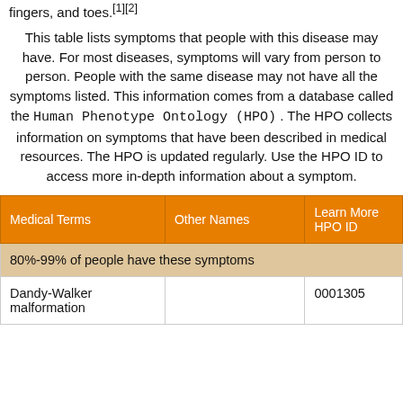fingers, and toes.[1][2]
This table lists symptoms that people with this disease may have. For most diseases, symptoms will vary from person to person. People with the same disease may not have all the symptoms listed. This information comes from a database called the Human Phenotype Ontology (HPO) . The HPO collects information on symptoms that have been described in medical resources. The HPO is updated regularly. Use the HPO ID to access more in-depth information about a symptom.
| Medical Terms | Other Names | Learn More HPO ID |
| --- | --- | --- |
| 80%-99% of people have these symptoms |  |  |
| Dandy-Walker malformation |  | 0001305 |